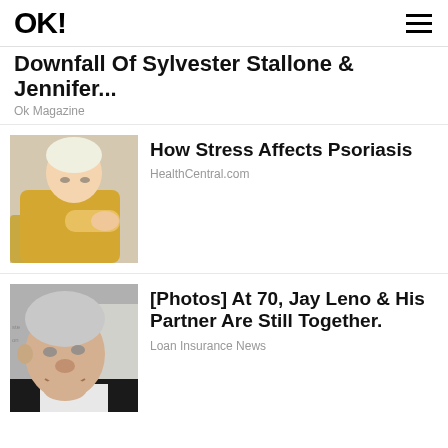OK!
Downfall Of Sylvester Stallone & Jennifer...
Ok Magazine
[Figure (photo): Woman in yellow sweater examining her arm, likely showing psoriasis skin condition]
How Stress Affects Psoriasis
HealthCentral.com
[Figure (photo): Jay Leno, older man with white hair, smiling at an event. Background shows text 'The David Foun']
[Photos] At 70, Jay Leno & His Partner Are Still Together.
Loan Insurance News